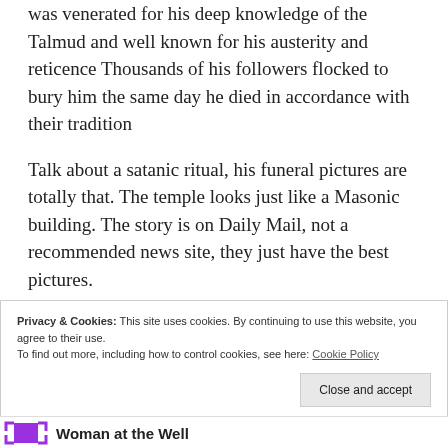was venerated for his deep knowledge of the Talmud and well known for his austerity and reticence Thousands of his followers flocked to bury him the same day he died in accordance with their tradition
Talk about a satanic ritual, his funeral pictures are totally that. The temple looks just like a Masonic building. The story is on Daily Mail, not a recommended news site, they just have the best pictures.
Privacy & Cookies: This site uses cookies. By continuing to use this website, you agree to their use. To find out more, including how to control cookies, see here: Cookie Policy
Close and accept
Woman at the Well